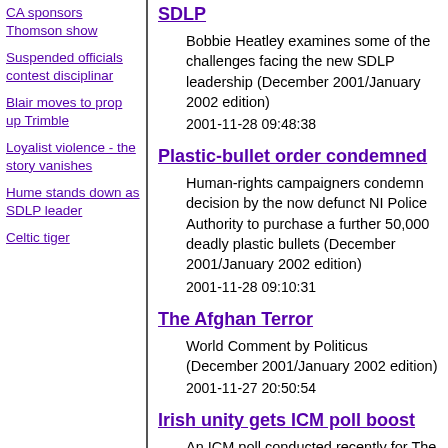CA sponsors Thomson show
Suspended officials contest disciplinary
Blair moves to prop up Trimble
Loyalist violence - the story vanishes
Hume stands down as SDLP leader
Celtic tiger
SDLP
Bobbie Heatley examines some of the challenges facing the new SDLP leadership (December 2001/January 2002 edition)
2001-11-28 09:48:38
Plastic-bullet order condemned
Human-rights campaigners condemn decision by the now defunct NI Police Authority to purchase a further 50,000 deadly plastic bullets (December 2001/January 2002 edition)
2001-11-28 09:10:31
The Afghan Terror
World Comment by Politicus (December 2001/January 2002 edition)
2001-11-27 20:50:54
Irish unity gets ICM poll boost
An ICM poll conducted recently for The Guardian newspaper has revealed that 41 per cent of Britons favour a united Ireland compared with just one in four (26